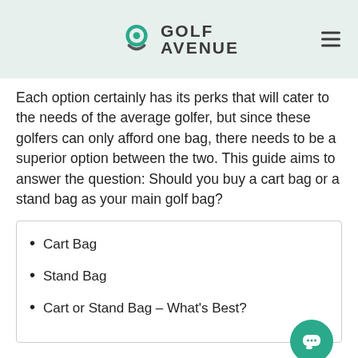GOLF AVENUE
Each option certainly has its perks that will cater to the needs of the average golfer, but since these golfers can only afford one bag, there needs to be a superior option between the two. This guide aims to answer the question: Should you buy a cart bag or a stand bag as your main golf bag?
Cart Bag
Stand Bag
Cart or Stand Bag – What's Best?
Cart Bag